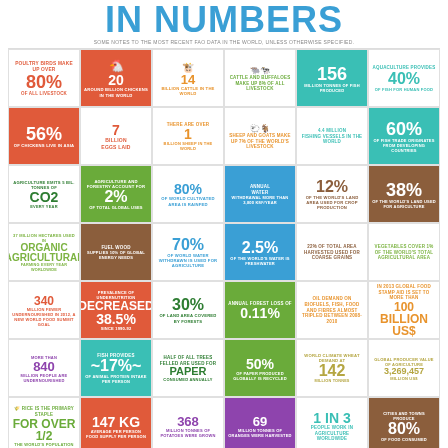IN NUMBERS
Some notes to the most recent FAO data in the world, unless otherwise specified.
[Figure (infographic): Grid of agricultural and food statistics infographic with icons and numbers covering livestock, fish, water, forests, food security, and crop data.]